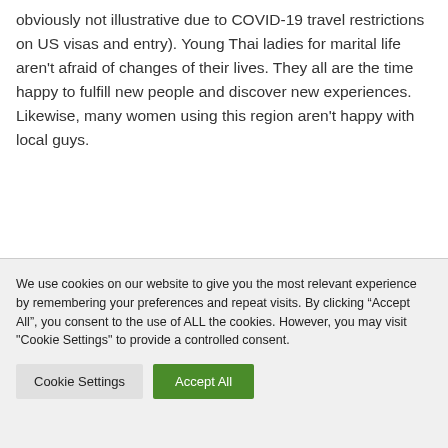obviously not illustrative due to COVID-19 travel restrictions on US visas and entry). Young Thai ladies for marital life aren't afraid of changes of their lives. They all are the time happy to fulfill new people and discover new experiences. Likewise, many women using this region aren't happy with local guys.
We use cookies on our website to give you the most relevant experience by remembering your preferences and repeat visits. By clicking “Accept All”, you consent to the use of ALL the cookies. However, you may visit "Cookie Settings" to provide a controlled consent.